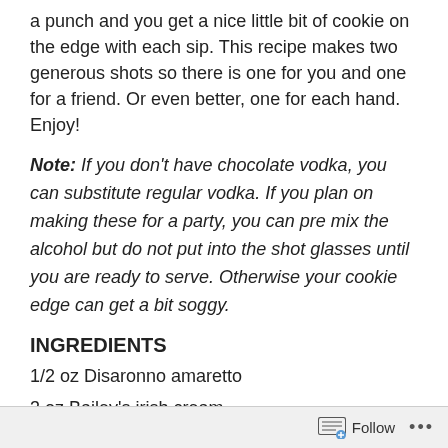a punch and you get a nice little bit of cookie on the edge with each sip. This recipe makes two generous shots so there is one for you and one for a friend. Or even better, one for each hand. Enjoy!
Note: If you don't have chocolate vodka, you can substitute regular vodka. If you plan on making these for a party, you can pre mix the alcohol but do not put into the shot glasses until you are ready to serve. Otherwise your cookie edge can get a bit soggy.
INGREDIENTS
1/2 oz Disaronno amaretto
3 oz Bailey's irish cream
1 1/2 oz chocolate vodka
2 chocolate chip cookies, crushed for garnish
Follow ...